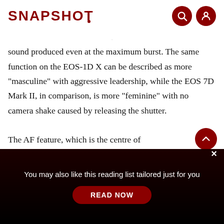SNAPSHOT
sound produced even at the maximum burst. The same function on the EOS-1D X can be described as more "masculine" with aggressive leadership, while the EOS 7D Mark II, in comparison, is more "feminine" with no camera shake caused by releasing the shutter.

The AF feature, which is the centre of
You may also like this reading list tailored just for you
READ NOW